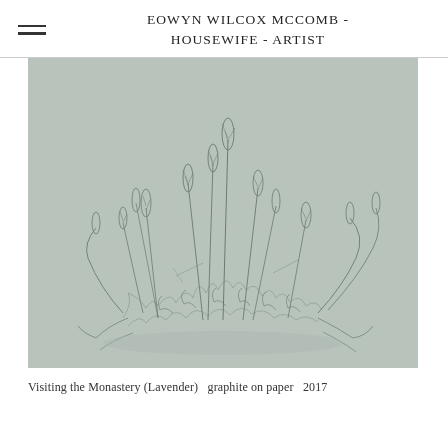EOWYN WILCOX MCCOMB - HOUSEWIFE - ARTIST
[Figure (illustration): Pencil/graphite drawing of lavender plant on light sage-green paper. Delicate botanical illustration showing lavender stems and flower spikes spreading outward from a central mass of foliage, rendered in fine graphite lines.]
Visiting the Monastery (Lavender)   graphite on paper   2017